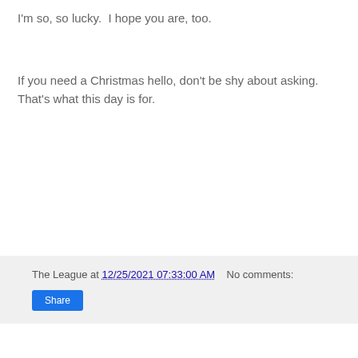I'm so, so lucky.  I hope you are, too.
If you need a Christmas hello, don't be shy about asking. That's what this day is for.
The League at 12/25/2021 07:33:00 AM   No comments:
Friday, December 24, 2021
Merry Christmas Eve, Every Buddy
[Figure (screenshot): YouTube video thumbnail showing Darlene Love on L... with play button overlay and a circular avatar photo]